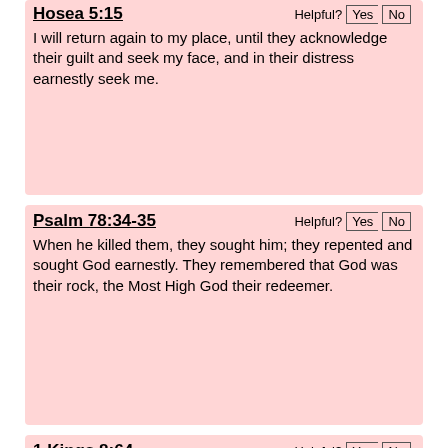Hosea 5:15
I will return again to my place, until they acknowledge their guilt and seek my face, and in their distress earnestly seek me.
Psalm 78:34-35
When he killed them, they sought him; they repented and sought God earnestly. They remembered that God was their rock, the Most High God their redeemer.
1 Kings 8:64